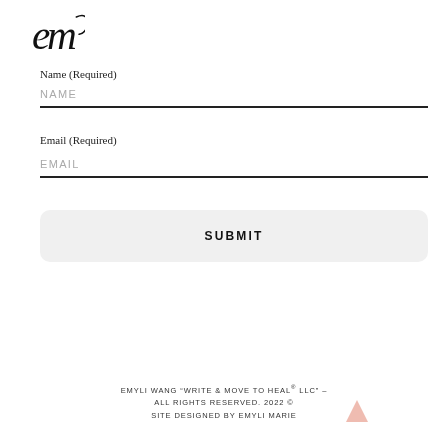[Figure (logo): Stylized cursive 'em' logo mark in black]
Name (Required)
NAME
Email (Required)
EMAIL
SUBMIT
EMYLI WANG “WRITE & MOVE TO HEAL® LLC” – ALL RIGHTS RESERVED. 2022 © SITE DESIGNED BY EMYLI MARIE